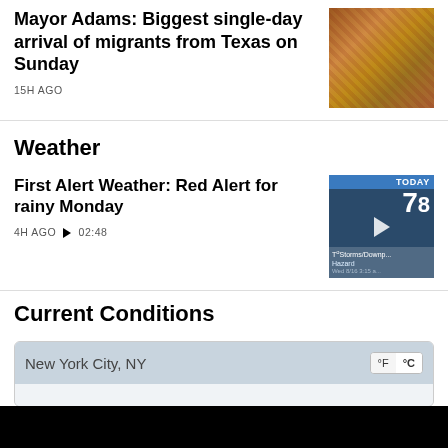Mayor Adams: Biggest single-day arrival of migrants from Texas on Sunday
15H AGO
[Figure (photo): Photo of people in a crowded indoor setting, appear to be migrants]
Weather
First Alert Weather: Red Alert for rainy Monday
4H AGO  ▶ 02:48
[Figure (screenshot): Weather video thumbnail showing TODAY bar, temperature 7X, stormy/downpour warning, city skyline]
Current Conditions
New York City, NY
°F  °C